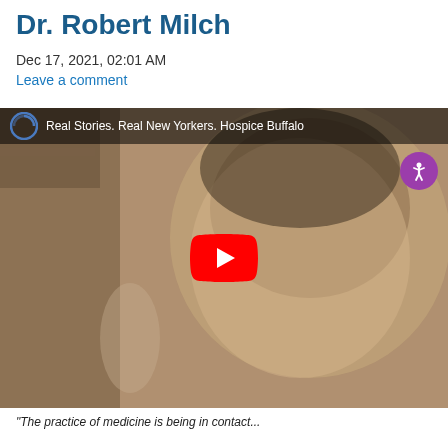Dr. Robert Milch
Dec 17, 2021, 02:01 AM
Leave a comment
[Figure (screenshot): YouTube video embed showing a sepia-toned black and white photo of an older man (Dr. Robert Milch) smiling, with text 'Real Stories. Real New Yorkers. Hospice Buffalo' in the top bar, a YouTube play button in the center, and an accessibility icon in the upper right corner.]
"The practice of medicine is being in contact..."